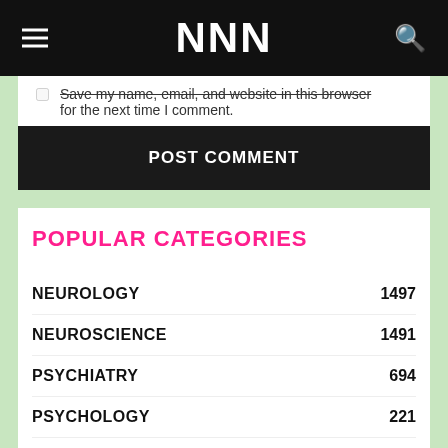NNN
Save my name, email, and website in this browser for the next time I comment.
POST COMMENT
POPULAR CATEGORIES
NEUROLOGY 1497
NEUROSCIENCE 1491
PSYCHIATRY 694
PSYCHOLOGY 221
BRAIN 44